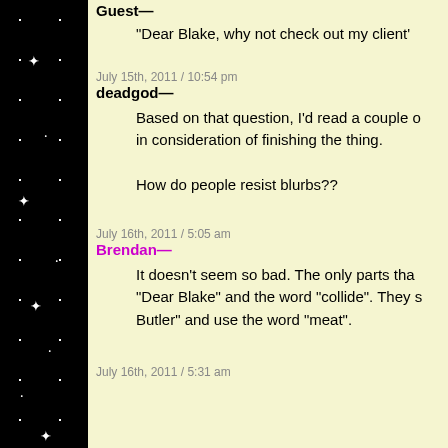Guest—
“Dear Blake, why not check out my client’
July 15th, 2011 / 10:54 pm
deadgod—
Based on that question, I’d read a couple o in consideration of finishing the thing.

How do people resist blurbs??
July 16th, 2011 / 5:05 am
Brendan—
It doesn’t seem so bad. The only parts tha “Dear Blake” and the word “collide”. They s Butler” and use the word “meat”.
July 16th, 2011 / 5:31 am